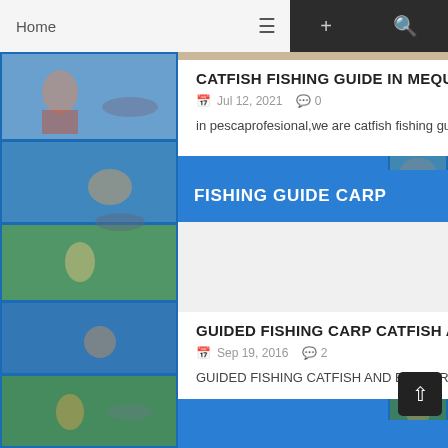Home
CATFISH FISHING GUIDE IN MEQUINENZA
Jul 12, 2021  0
in pescaprofesional,we are catfish fishing guide on...
FISHING GUIDE CARP
GUIDED FISHING CARP CATFISH AND LARGE IN SEPTEMBER
Sep 19, 2016  2
GUIDED FISHING CATFISH AND BIG CARP in September ...